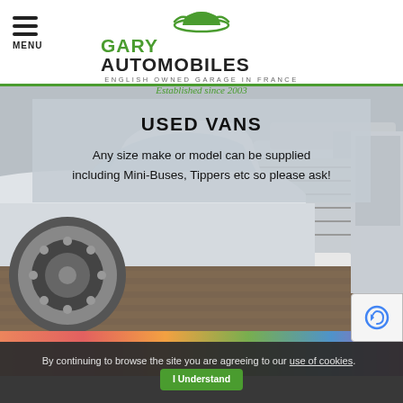MENU | GARY AUTOMOBILES — English Owned Garage in France — Established since 2003
USED VANS
Any size make or model can be supplied including Mini-Buses, Tippers etc so please ask!
[Figure (photo): Photo of white van close-up showing wheel, grille and front bumper with other vans parked in background]
By continuing to browse the site you are agreeing to our use of cookies. I Understand